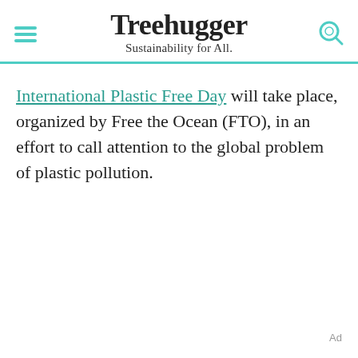Treehugger
Sustainability for All.
International Plastic Free Day will take place, organized by Free the Ocean (FTO), in an effort to call attention to the global problem of plastic pollution.
Ad